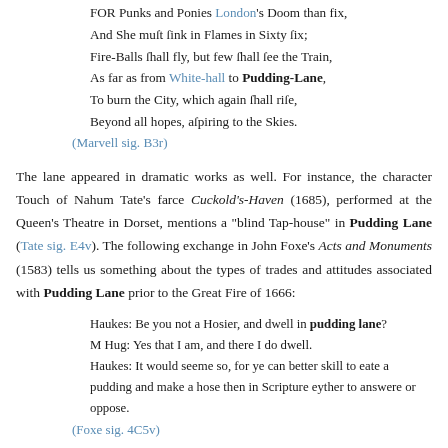FOR Punks and Ponies London's Doom than fix,
And She must sink in Flames in Sixty fix;
Fire-Balls shall fly, but few shall see the Train,
As far as from White-hall to Pudding-Lane,
To burn the City, which again shall rise,
Beyond all hopes, aspiring to the Skies.
(Marvell sig. B3r)
The lane appeared in dramatic works as well. For instance, the character Touch of Nahum Tate's farce Cuckold's-Haven (1685), performed at the Queen's Theatre in Dorset, mentions a "blind Tap-house" in Pudding Lane (Tate sig. E4v). The following exchange in John Foxe's Acts and Monuments (1583) tells us something about the types of trades and attitudes associated with Pudding Lane prior to the Great Fire of 1666:
Haukes: Be you not a Hosier, and dwell in pudding lane?
M Hug: Yes that I am, and there I do dwell.
Haukes: It would seeme so, for ye can better skill to eate a pudding and make a hose then in Scripture eyther to answere or oppose.
(Foxe sig. 4C5v)
Finally, John Griggs (1551/2–1598), a carpenter who built The Rose theatre for Philip Henslowe in 1587, lived in Pudding Lane in the parish of St. Margaret, New Fish Street—the same parish as Thomas